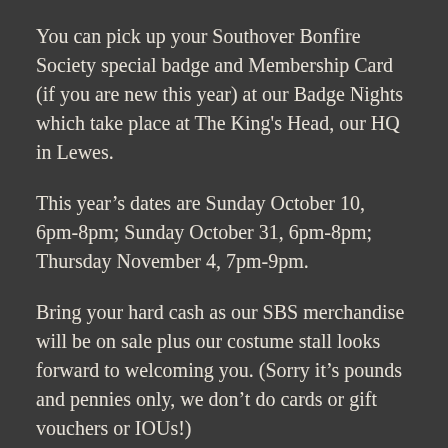You can pick up your Southover Bonfire Society special badge and Membership Card (if you are new this year) at our Badge Nights which take place at The King's Head, our HQ in Lewes.
This year's dates are Sunday October 10, 6pm-8pm; Sunday October 31, 6pm-8pm; Thursday November 4, 7pm-9pm.
Bring your hard cash as our SBS merchandise will be on sale plus our costume stall looks forward to welcoming you. (Sorry it's pounds and pennies only, we don't do cards or gift vouchers or IOUs!)
If you've lost your Membership Card, or members of your family have, please order your replacements now